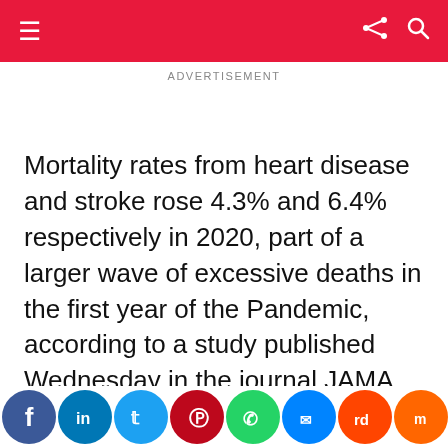ADVERTISEMENT
Mortality rates from heart disease and stroke rose 4.3% and 6.4% respectively in 2020, part of a larger wave of excessive deaths in the first year of the Pandemic, according to a study published Wednesday in the journal JAMA Network Open. Overall, the U.S. mortality rate jumped 15.9% that year, according to an analysis that was based on data from the Centers for Disease Control and Prevention.
Heart disease has long been the nation's leading killer,
[Social sharing bar: Facebook, LinkedIn, Twitter, Pinterest, WhatsApp, Messenger, Reddit, Mix, MarketWatch, Share]